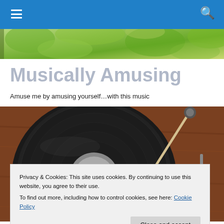Navigation bar with menu icon and search icon
[Figure (photo): Green foliage header photo strip]
Musically Amusing
Amuse me by amusing yourself…with this music
[Figure (photo): Close-up of a vinyl record player turntable with tonearm on a wooden surface]
Privacy & Cookies: This site uses cookies. By continuing to use this website, you agree to their use.
To find out more, including how to control cookies, see here: Cookie Policy
Close and accept